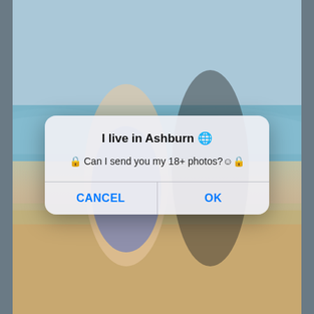[Figure (screenshot): Mobile phone screenshot showing two women in swimsuits on a beach with ocean waves in the background, overlaid with an iOS-style dialog box]
I live in Ashburn 🌐
🔒 Can I send you my 18+ photos?☺️🔒
CANCEL
OK